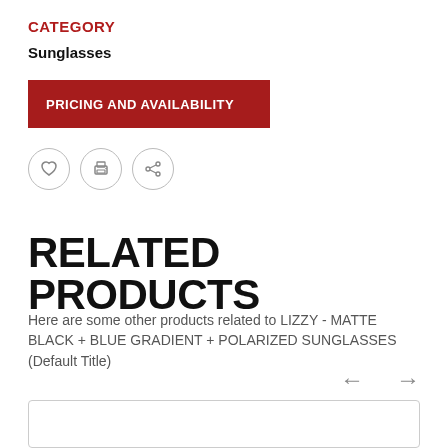CATEGORY
Sunglasses
PRICING AND AVAILABILITY
[Figure (illustration): Three circular icon buttons: heart/wishlist, print, and share icons with grey borders]
RELATED PRODUCTS
Here are some other products related to LIZZY - MATTE BLACK + BLUE GRADIENT + POLARIZED SUNGLASSES (Default Title)
[Figure (illustration): Left and right navigation arrow buttons in grey]
[Figure (illustration): Product card placeholder box with grey border at bottom of page]